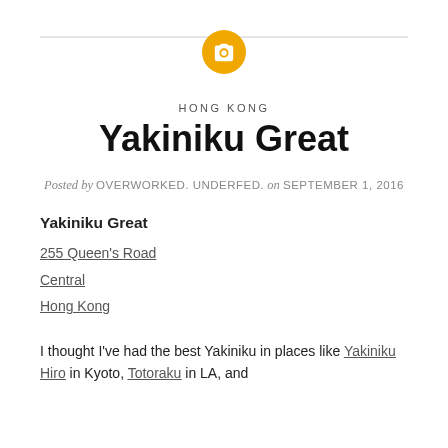[Figure (illustration): Gold circle with white camera icon, flanked by horizontal gray lines on left and right]
HONG KONG
Yakiniku Great
Posted by OVERWORKED. UNDERFED. on SEPTEMBER 1, 2016
Yakiniku Great
255 Queen's Road
Central
Hong Kong
I thought I've had the best Yakiniku in places like Yakiniku Hiro in Kyoto, Totoraku in LA, and